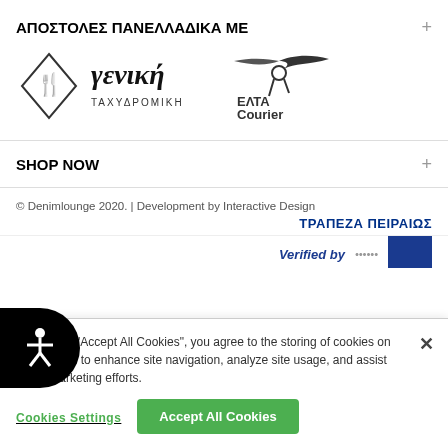ΑΠΟΣΤΟΛΕΣ ΠΑΝΕΛΛΑΔΙΚΑ ΜΕ
[Figure (logo): Γενική Ταχυδρομική courier company logo with diamond and hand symbol]
[Figure (logo): ΕΛΤΑ Courier logo with flying figure]
SHOP NOW
© Denimlounge 2020. | Development by Interactive Design
ΤΡΑΠΕΖΑ ΠΕΙΡΑΙΩΣ
Verified by
By clicking "Accept All Cookies", you agree to the storing of cookies on your device to enhance site navigation, analyze site usage, and assist in our marketing efforts.
Cookies Settings
Accept All Cookies